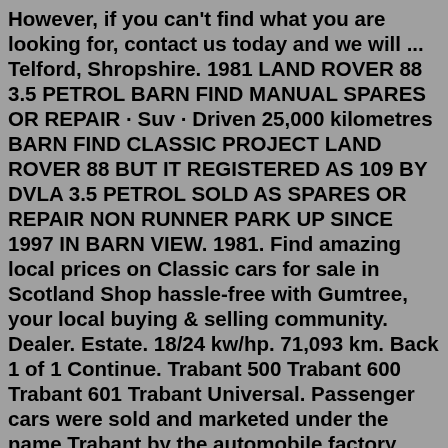However, if you can't find what you are looking for, contact us today and we will ... Telford, Shropshire. 1981 LAND ROVER 88 3.5 PETROL BARN FIND MANUAL SPARES OR REPAIR · Suv · Driven 25,000 kilometres BARN FIND CLASSIC PROJECT LAND ROVER 88 BUT IT REGISTERED AS 109 BY DVLA 3.5 PETROL SOLD AS SPARES OR REPAIR NON RUNNER PARK UP SINCE 1997 IN BARN VIEW. 1981. Find amazing local prices on Classic cars for sale in Scotland Shop hassle-free with Gumtree, your local buying & selling community. Dealer. Estate. 18/24 kw/hp. 71,093 km. Back 1 of 1 Continue. Trabant 500 Trabant 600 Trabant 601 Trabant Universal. Passenger cars were sold and marketed under the name Trabant by the automobile factory VEB Automobilwerk (people owned enterprise) Zwickau between 1957 and 1991. The sale mainly took place in the GDR. 1987 classic bmw 525 lux etta automatic pre auction sal bmw 525 lux automatic. More details. Private Seller. £2,000. 1994 MERCEDES E280 ESTATE CAR STORAGE FIND